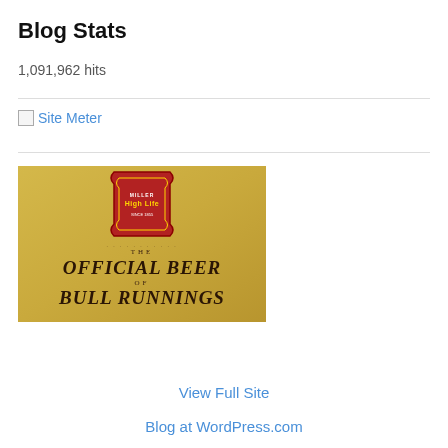Blog Stats
1,091,962 hits
[Figure (logo): Site Meter broken image link with text 'Site Meter' in blue]
[Figure (illustration): Miller High Life beer advertisement on gold background: 'THE OFFICIAL BEER OF BULL RUNNINGS' with Miller High Life red shield logo]
View Full Site
Blog at WordPress.com